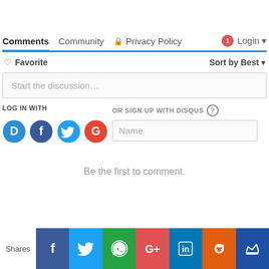Comments  Community  🔒 Privacy Policy  1 Login
♡ Favorite   Sort by Best
Start the discussion…
LOG IN WITH
[Figure (screenshot): Social login icons: Disqus (D), Facebook (F), Twitter bird, Google (G) in colored circles]
OR SIGN UP WITH DISQUS ?
Name
Be the first to comment.
[Figure (infographic): Social sharing bar with icons: Facebook, Twitter, WhatsApp, Google+, LinkedIn, Reddit, and a crown icon, with 'Shares' label on left]